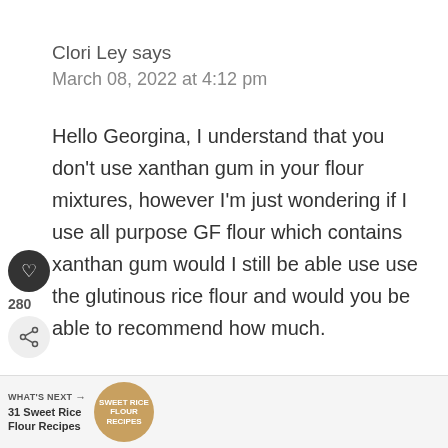Clori Ley says
March 08, 2022 at 4:12 pm
Hello Georgina, I understand that you don't use xanthan gum in your flour mixtures, however I'm just wondering if I use all purpose GF flour which contains xanthan gum would I still be able use use the glutinous rice flour and would you be able to recommend how much. For instance if 2 c. of GF all purpose flour is called for and idea of how much GR flour?